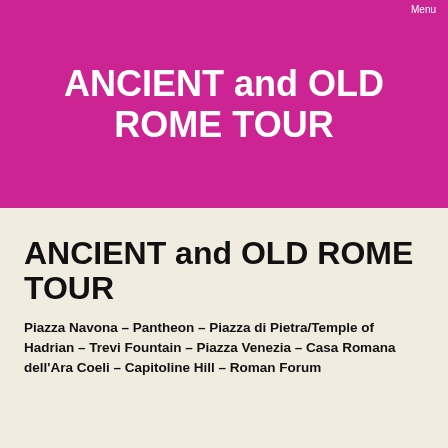Menu
ANCIENT and OLD ROME TOUR
ANCIENT and OLD ROME TOUR
Piazza Navona – Pantheon – Piazza di Pietra/Temple of Hadrian – Trevi Fountain – Piazza Venezia – Casa Romana dell'Ara Coeli –  Capitoline Hill – Roman Forum